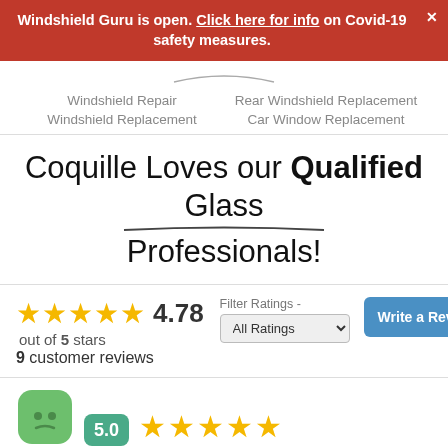Windshield Guru is open. Click here for info on Covid-19 safety measures.
Windshield Repair
Windshield Replacement
Rear Windshield Replacement
Car Window Replacement
Coquille Loves our Qualified Glass Professionals!
4.78 out of 5 stars
9 customer reviews
Filter Ratings - All Ratings
[Figure (other): Green avatar icon (rounded square face), rating score box showing 5.0, and five gold stars]